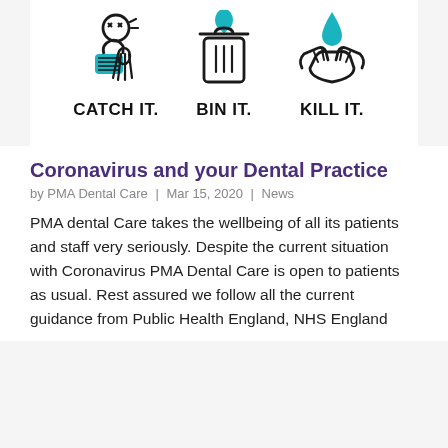[Figure (infographic): Three icons side by side: person sneezing into tissue (CATCH IT.), a bin/trash can (BIN IT.), hands with water drop (KILL IT.). Public health hygiene campaign graphic.]
Coronavirus and your Dental Practice
by PMA Dental Care | Mar 15, 2020 | News
PMA dental Care takes the wellbeing of all its patients and staff very seriously. Despite the current situation with Coronavirus PMA Dental Care is open to patients as usual. Rest assured we follow all the current guidance from Public Health England, NHS England